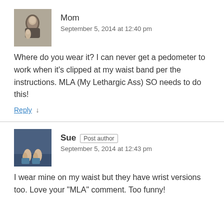[Figure (photo): Avatar photo of commenter Mom - black and white photo of a woman with a child]
Mom
September 5, 2014 at 12:40 pm
Where do you wear it? I can never get a pedometer to work when it's clipped at my waist band per the instructions. MLA (My Lethargic Ass) SO needs to do this!
Reply ↓
[Figure (photo): Avatar photo of commenter Sue - photo showing bare feet on blue surface]
Sue Post author
September 5, 2014 at 12:43 pm
I wear mine on my waist but they have wrist versions too. Love your "MLA" comment. Too funny!